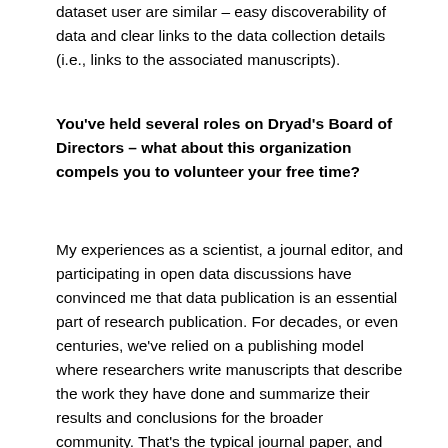dataset user are similar – easy discoverability of data and clear links to the data collection details (i.e., links to the associated manuscripts).
You've held several roles on Dryad's Board of Directors – what about this organization compels you to volunteer your free time?
My experiences as a scientist, a journal editor, and participating in open data discussions have convinced me that data publication is an essential part of research publication. For decades, or even centuries, we've relied on a publishing model where researchers write manuscripts that describe the work they have done and summarize their results and conclusions for the broader community. That's the typical journal paper, and was the limit of what could be done in an age where everything had to fit onto the printed page and be distributed on paper. Nowadays we have near infinite space in a digital medium to not just summarize our results, but also provide all of the details, including the actual data, as part of the research presentation. It